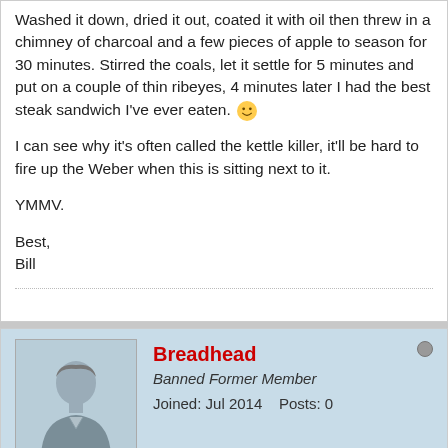Washed it down, dried it out, coated it with oil then threw in a chimney of charcoal and a few pieces of apple to season for 30 minutes. Stirred the coals, let it settle for 5 minutes and put on a couple of thin ribeyes, 4 minutes later I had the best steak sandwich I've ever eaten. 🙂
I can see why it's often called the kettle killer, it'll be hard to fire up the Weber when this is sitting next to it.
YMMV.
Best,
Bill
Breadhead
Banned Former Member
Joined: Jul 2014    Posts: 0
June 4, 2015, 07:15 PM
Top | #10
That this may be a great forum post and think it would be the